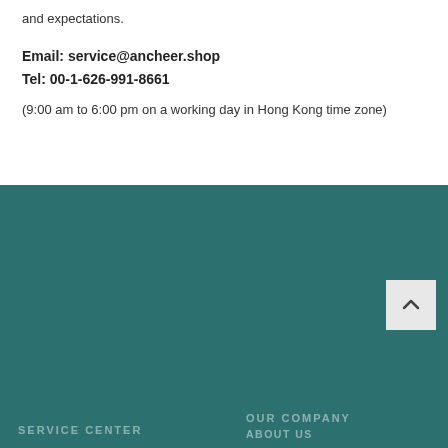and expectations.
Email: service@ancheer.shop
Tel: 00-1-626-991-8661
(9:00 am to 6:00 pm on a working day in Hong Kong time zone)
OUR COMPANY | SERVICE CENTER | ABOUT US